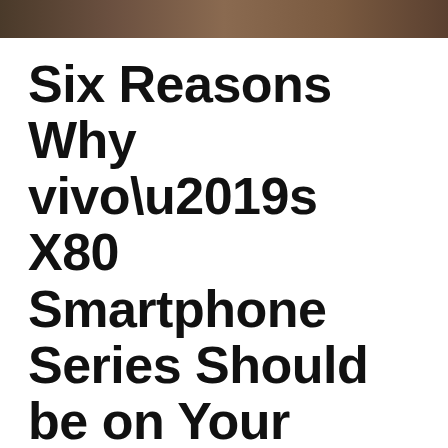[Figure (photo): Decorative hero image banner at top of article page, appears to show a dark warm-toned photo (possibly a smartphone or device)]
Six Reasons Why vivo’s X80 Smartphone Series Should be on Your Radar
May 14, 2022 by admin
It is evident that the smartphone industry has seen benefits from vivo’s strong focus on mobile photography technology. Their X